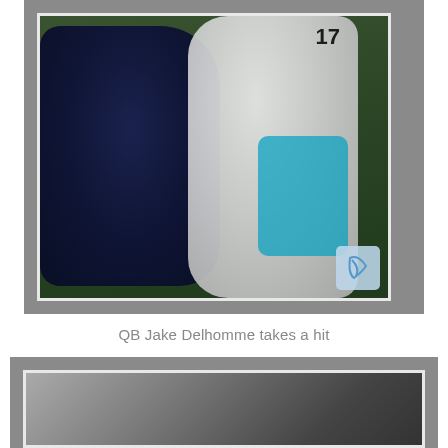[Figure (photo): NFL football action photo showing QB Jake Delhomme (#17, Carolina Panthers white/teal uniform) taking a hit from a New England Patriots defender in dark navy uniform. Green grass field background. Watermark logo visible in bottom right corner.]
QB Jake Delhomme takes a hit
[Figure (photo): Partially visible photo of what appears to be a stadium interior/exterior view, partially cut off at the bottom of the page.]